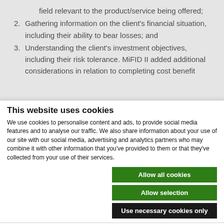field relevant to the product/service being offered;
2. Gathering information on the client's financial situation, including their ability to bear losses; and
3. Understanding the client's investment objectives, including their risk tolerance. MiFID II added additional considerations in relation to completing cost benefit
This website uses cookies
We use cookies to personalise content and ads, to provide social media features and to analyse our traffic. We also share information about your use of our site with our social media, advertising and analytics partners who may combine it with other information that you've provided to them or that they've collected from your use of their services.
Allow all cookies
Allow selection
Use necessary cookies only
Necessary  Preferences  Statistics  Marketing  Show details